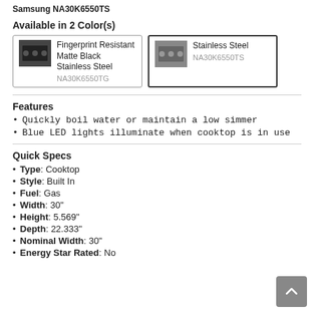Samsung NA30K6550TS
Available in 2 Color(s)
Fingerprint Resistant Matte Black Stainless Steel NA30K6550TG
Stainless Steel NA30K6550TS
Features
Quickly boil water or maintain a low simmer
Blue LED lights illuminate when cooktop is in use
Quick Specs
Type: Cooktop
Style: Built In
Fuel: Gas
Width: 30"
Height: 5.569"
Depth: 22.333"
Nominal Width: 30"
Energy Star Rated: No